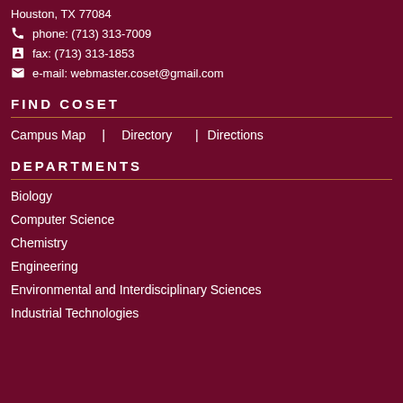Houston, TX 77084
phone: (713) 313-7009
fax: (713) 313-1853
e-mail: webmaster.coset@gmail.com
FIND COSET
Campus Map | Directory | Directions
DEPARTMENTS
Biology
Computer Science
Chemistry
Engineering
Environmental and Interdisciplinary Sciences
Industrial Technologies